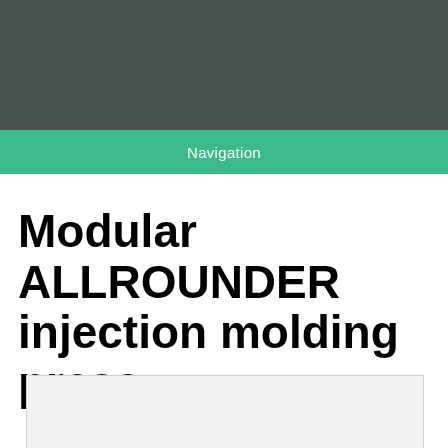Navigation
Modular ALLROUNDER injection molding press
[Figure (other): Light gray placeholder box, partially visible at bottom of page, representing an image of an ALLROUNDER injection molding press]